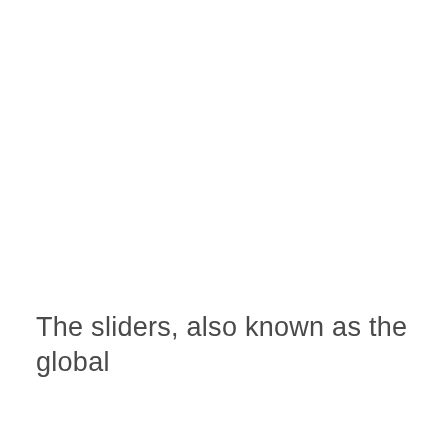The sliders, also known as the global